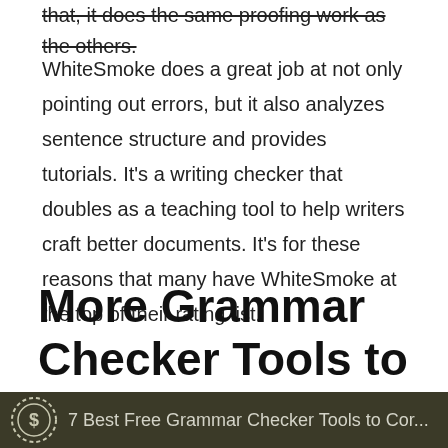that, it does the same proofing work as the others.
WhiteSmoke does a great job at not only pointing out errors, but it also analyzes sentence structure and provides tutorials. It's a writing checker that doubles as a teaching tool to help writers craft better documents. It's for these reasons that many have WhiteSmoke at the top of their rating list.
More Grammar Checker Tools to Correct English Writing Errors
[Figure (screenshot): Dark olive-colored banner bar with a dollar sign badge icon and partial text reading '7 Best Free Grammar Checker Tools to Cor...']